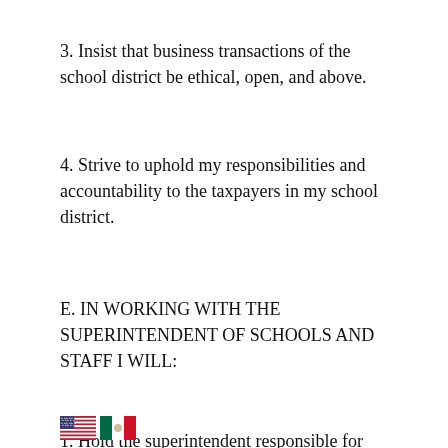3. Insist that business transactions of the school district be ethical, open, and above.
4. Strive to uphold my responsibilities and accountability to the taxpayers in my school district.
E. IN WORKING WITH THE SUPERINTENDENT OF SCHOOLS AND STAFF I WILL:
1. Hold the superintendent responsible for the administration of the school district.
2. Give the superintendent authority commensurate with his or her responsibilities.
[US flag] [Mexico flag]